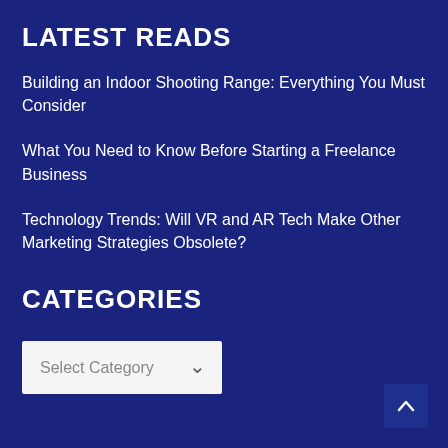LATEST READS
Building an Indoor Shooting Range: Everything You Must Consider
What You Need to Know Before Starting a Freelance Business
Technology Trends: Will VR and AR Tech Make Other Marketing Strategies Obsolete?
CATEGORIES
Select Category